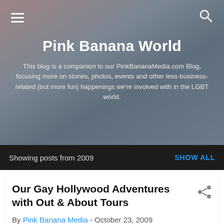Pink Banana World
This blog is a companion to our PinkBananaMedia.com Blog, focusing more on stories, photos, events and other less-business-related (but more fun) happenings we're involved with in the LGBT world.
Showing posts from 2009    SHOW ALL
Our Gay Hollywood Adventures with Out & About Tours
By Pink Banana Media - October 23, 2009
[Figure (photo): Thumbnail photo of two women smiling, appears to be taken on a bus or tour vehicle]
Last Friday, a group of us had the opportunity to attend the "Pre-Tour" of the